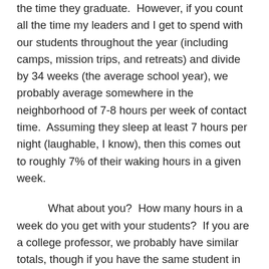the time they graduate.  However, if you count all the time my leaders and I get to spend with our students throughout the year (including camps, mission trips, and retreats) and divide by 34 weeks (the average school year), we probably average somewhere in the neighborhood of 7-8 hours per week of contact time.  Assuming they sleep at least 7 hours per night (laughable, I know), then this comes out to roughly 7% of their waking hours in a given week.
What about you?  How many hours in a week do you get with your students?  If you are a college professor, we probably have similar totals, though if you have the same student in multiple classes, you can double or triple your time.  For elementary and secondary school teachers, though, you probably average at least 5 times the number of hours each week with those you teach.  You see them on their good days and their bad days. You see them on their